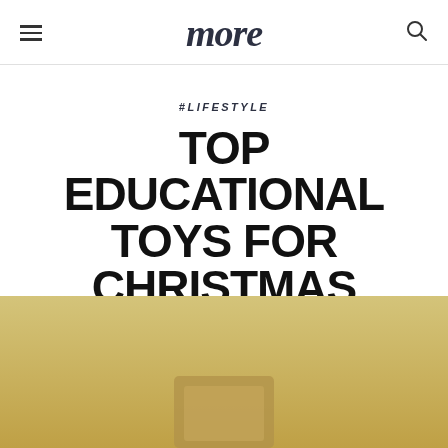more
#Lifestyle
TOP EDUCATIONAL TOYS FOR CHRISTMAS
by admin
[Figure (photo): Hero image with warm golden/tan background, partial view of a toy or book at the bottom center of the image]